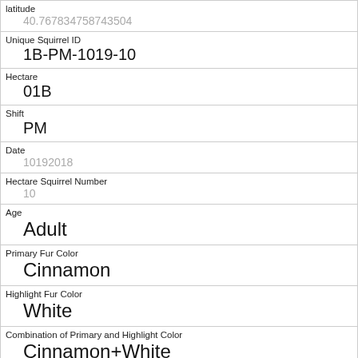| latitude | 40.767834758743504 |
| Unique Squirrel ID | 1B-PM-1019-10 |
| Hectare | 01B |
| Shift | PM |
| Date | 10192018 |
| Hectare Squirrel Number | 10 |
| Age | Adult |
| Primary Fur Color | Cinnamon |
| Highlight Fur Color | White |
| Combination of Primary and Highlight Color | Cinnamon+White |
| Color notes |  |